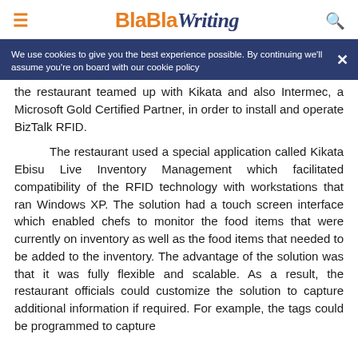BlaBlaWriting
We use cookies to give you the best experience possible. By continuing we'll assume you're on board with our cookie policy
the restaurant teamed up with Kikata and also Intermec, a Microsoft Gold Certified Partner, in order to install and operate BizTalk RFID.
The restaurant used a special application called Kikata Ebisu Live Inventory Management which facilitated compatibility of the RFID technology with workstations that ran Windows XP. The solution had a touch screen interface which enabled chefs to monitor the food items that were currently on inventory as well as the food items that needed to be added to the inventory. The advantage of the solution was that it was fully flexible and scalable. As a result, the restaurant officials could customize the solution to capture additional information if required. For example, the tags could be programmed to capture